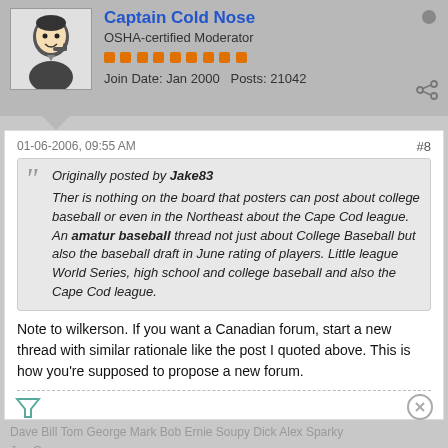Captain Cold Nose
OSHA-certified Moderator
Join Date: Jan 2000   Posts: 21042
01-06-2006, 09:55 AM   #8
Originally posted by Jake83
Ther is nothing on the board that posters can post about college baseball or even in the Northeast about the Cape Cod league. An amatur baseball thread not just about College Baseball but also the baseball draft in June rating of players. Little league World Series, high school and college baseball and also the Cape Cod league.
Note to wilkerson. If you want a Canadian forum, start a new thread with similar rationale like the post I quoted above. This is how you're supposed to propose a new forum.
Dave Bill Tom George Mark Bob Ernie Soupy Dick Alex Sparky Joe Gary Jonathan Gates Ph Robin Bl